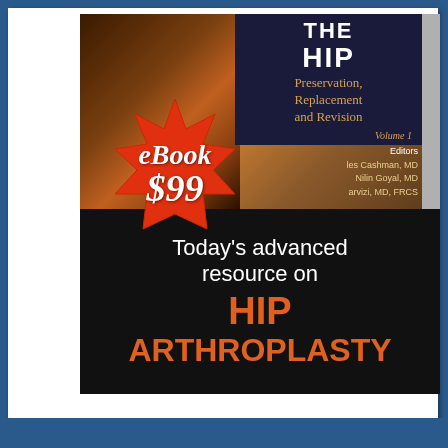[Figure (illustration): Advertisement for a medical eBook titled 'The Hip: Preservation, Replacement and Revision'. Shows a book cover with anatomical image, a red starburst badge reading 'eBook $99', and a black lower section reading 'Today's advanced resource on HIP ARTHROPLASTY'. Blue border surrounds the ad.]